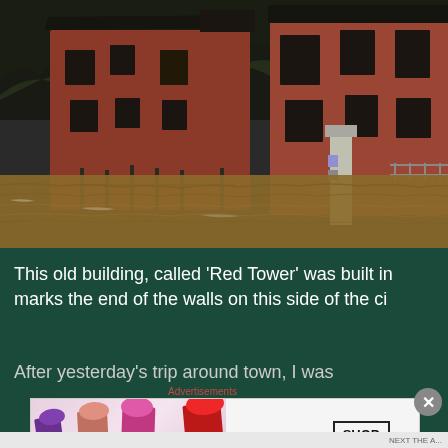[Figure (photo): Flooded area showing a red brick building called Red Tower surrounded by murky brown floodwater. Trees and fencing are partially submerged. The photo is taken in dull winter daylight.]
This old building, called 'Red Tower' was built in marks the end of the walls on this side of the ci
After yesterday's trip around town, I was
[Figure (screenshot): MAC Cosmetics advertisement showing lipsticks in purple, peach, pink and red colors with MAC logo and SHOP NOW button.]